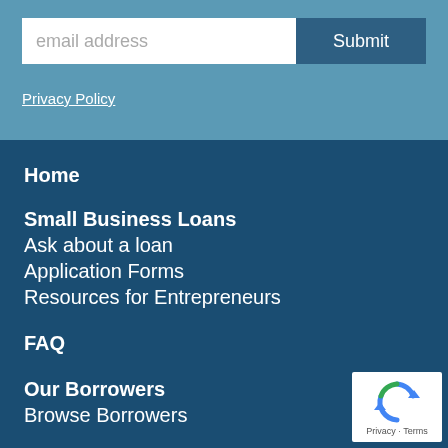email address
Submit
Privacy Policy
Home
Small Business Loans
Ask about a loan
Application Forms
Resources for Entrepreneurs
FAQ
Our Borrowers
Browse Borrowers
[Figure (logo): reCAPTCHA badge with circular arrows icon and Privacy - Terms text]